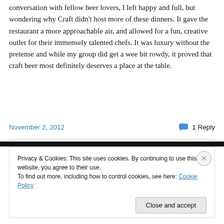conversation with fellow beer lovers, I left happy and full, but wondering why Craft didn't host more of these dinners. It gave the restaurant a more approachable air, and allowed for a fun, creative outlet for their immensely talented chefs. It was luxury without the pretense and while my group did get a wee bit rowdy, it proved that craft beer most definitely deserves a place at the table.
November 2, 2012   1 Reply
Privacy & Cookies: This site uses cookies. By continuing to use this website, you agree to their use.
To find out more, including how to control cookies, see here: Cookie Policy
Close and accept